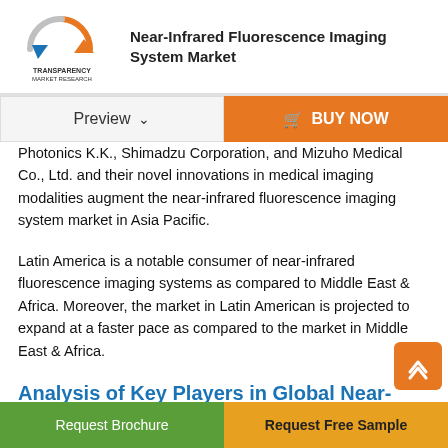Near-Infrared Fluorescence Imaging System Market
Photonics K.K., Shimadzu Corporation, and Mizuho Medical Co., Ltd. and their novel innovations in medical imaging modalities augment the near-infrared fluorescence imaging system market in Asia Pacific.
Latin America is a notable consumer of near-infrared fluorescence imaging systems as compared to Middle East & Africa. Moreover, the market in Latin American is projected to expand at a faster pace as compared to the market in Middle East & Africa.
Analysis of Key Players in Global Near-infrared Fluorescence Imaging System Market
Request Brochure | Request Free Sample